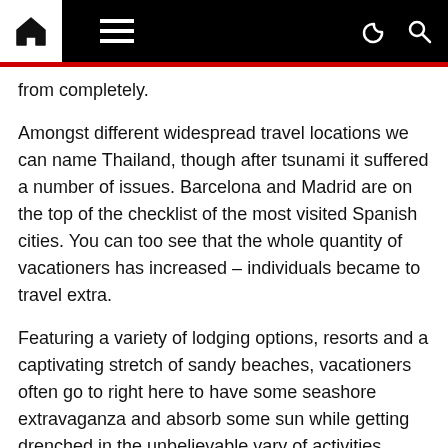Navigation bar with home icon, menu, dark mode, and search icons
from completely.
Amongst different widespread travel locations we can name Thailand, though after tsunami it suffered a number of issues. Barcelona and Madrid are on the top of the checklist of the most visited Spanish cities. You can too see that the whole quantity of vacationers has increased – individuals became to travel extra.
Featuring a variety of lodging options, resorts and a captivating stretch of sandy beaches, vacationers often go to right here to have some seashore extravaganza and absorb some sun while getting drenched in the unbelievable vary of activities available here.
How To Select A Travel